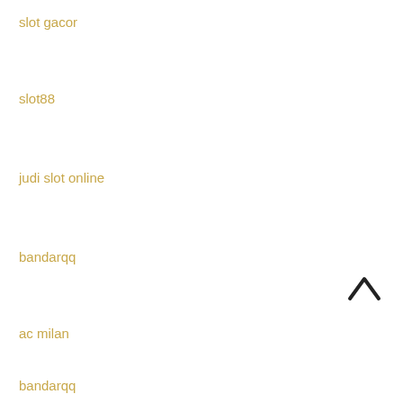slot gacor
slot88
judi slot online
bandarqq
ac milan
bandarqq